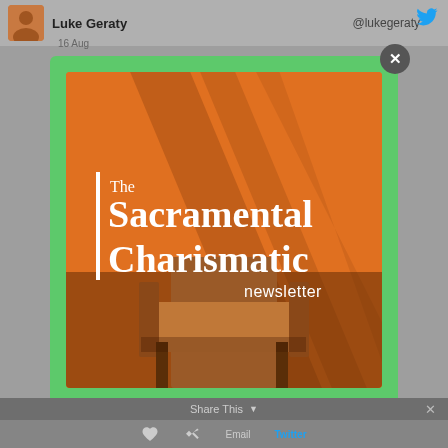Luke Geraty @lukegeraty 16 Aug
[Figure (screenshot): Green modal popup over a social media interface showing a newsletter advertisement for 'The Sacramental Charismatic newsletter' with an orange background image featuring diagonal shadow stripes and a leather chair. The modal has a green border/background and a dark close button (x) in the top right corner.]
The Sacramental Charismatic newsletter
Join My Mailing List
Share This   ×